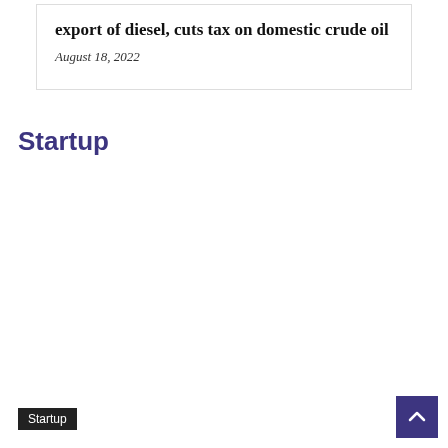export of diesel, cuts tax on domestic crude oil
August 18, 2022
Startup
Startup